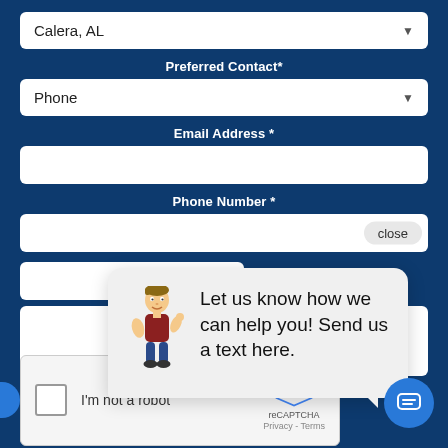Calera, AL
Preferred Contact*
Phone
Email Address *
Phone Number *
[Figure (screenshot): Chat popup with cartoon character saying 'Let us know how we can help you! Send us a text here.' with close button]
I'm not a robot
[Figure (logo): reCAPTCHA logo with Privacy and Terms links]